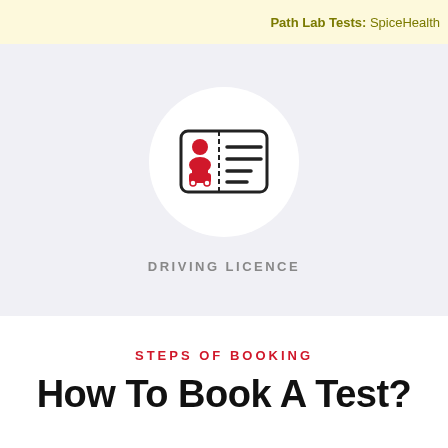Path Lab Tests: SpiceHealth
[Figure (illustration): Driving licence icon — a card with a person silhouette and car icon in red on the left, and horizontal lines on the right, inside a rounded rectangle border, displayed on a circular white background over a light grey-purple section. Below the circle: text DRIVING LICENCE.]
DRIVING LICENCE
STEPS OF BOOKING
How To Book A Test?